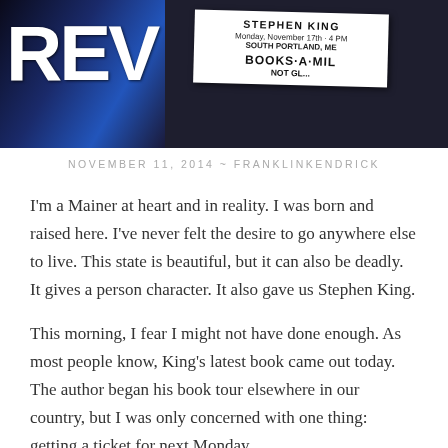[Figure (photo): Photo of a book signing announcement sign for Stephen King, Monday November 17th 4 PM, South Portland ME, Books-A-Million, against a dark blue background with partial text 'REV' visible on left side]
NOVEMBER 11, 2014 ~ FRANKLINKENDRICK
I'm a Mainer at heart and in reality. I was born and raised here. I've never felt the desire to go anywhere else to live. This state is beautiful, but it can also be deadly. It gives a person character. It also gave us Stephen King.
This morning, I fear I might not have done enough. As most people know, King's latest book came out today. The author began his book tour elsewhere in our country, but I was only concerned with one thing: getting a ticket for next Monday.